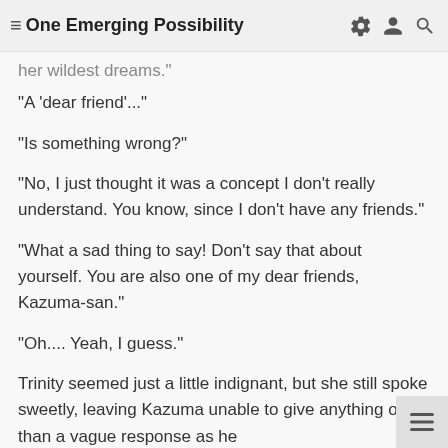One Emerging Possibility
her wildest dreams."
"A 'dear friend'..."
"Is something wrong?"
"No, I just thought it was a concept I don't really understand. You know, since I don't have any friends."
"What a sad thing to say! Don't say that about yourself. You are also one of my dear friends, Kazuma-san."
"Oh.... Yeah, I guess."
Trinity seemed just a little indignant, but she still spoke sweetly, leaving Kazuma unable to give anything other than a vague response as he